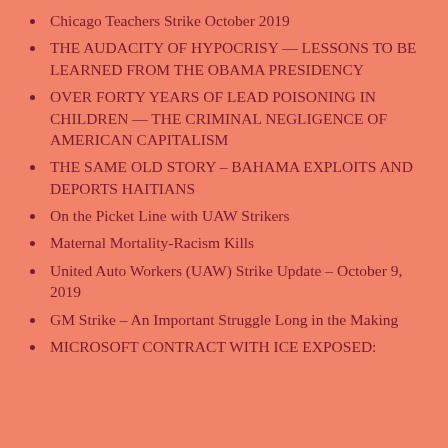Chicago Teachers Strike October 2019
THE AUDACITY OF HYPOCRISY — LESSONS TO BE LEARNED FROM THE OBAMA PRESIDENCY
OVER FORTY YEARS OF LEAD POISONING IN CHILDREN — THE CRIMINAL NEGLIGENCE OF AMERICAN CAPITALISM
THE SAME OLD STORY – BAHAMA EXPLOITS AND DEPORTS HAITIANS
On the Picket Line with UAW Strikers
Maternal Mortality-Racism Kills
United Auto Workers (UAW) Strike Update – October 9, 2019
GM Strike – An Important Struggle Long in the Making
MICROSOFT CONTRACT WITH ICE EXPOSED: ONE MORE DEFENSE OF IMMIGRANTS